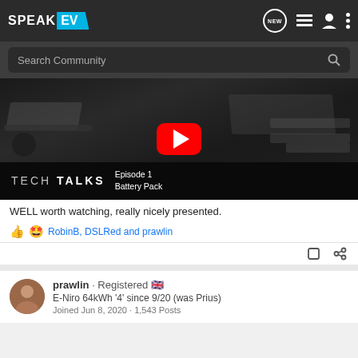SPEAK EV - navigation bar with NEW, list, user, and menu icons
Search Community
[Figure (screenshot): YouTube video thumbnail showing TECH TALKS Episode 1 Battery Pack with red YouTube play button overlay on a dark background showing EV battery components]
WELL worth watching, really nicely presented.
RobinB, DSLRed and prawlin
prawlin · Registered 🇬🇧
E-Niro 64kWh '4' since 9/20 (was Prius)
Joined Jun 8, 2020 · 1,543 Posts